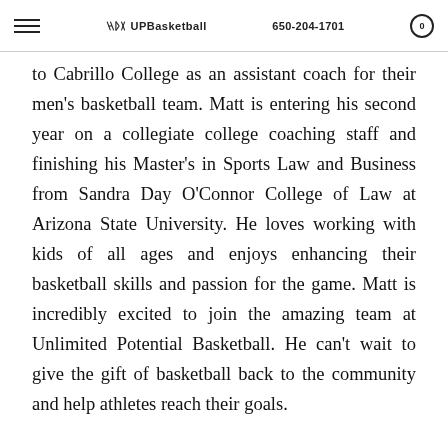UPBasketball | 650-204-1701
to Cabrillo College as an assistant coach for their men's basketball team. Matt is entering his second year on a collegiate college coaching staff and finishing his Master's in Sports Law and Business from Sandra Day O'Connor College of Law at Arizona State University. He loves working with kids of all ages and enjoys enhancing their basketball skills and passion for the game. Matt is incredibly excited to join the amazing team at Unlimited Potential Basketball. He can't wait to give the gift of basketball back to the community and help athletes reach their goals.